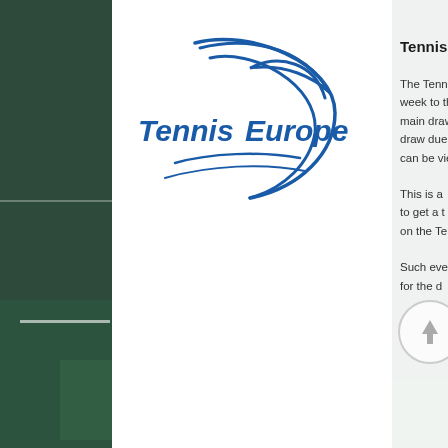[Figure (logo): Tennis Europe logo — blue stylized tennis ball arc with 'Tennis Europe' text in blue italic]
Tennis E
The Tenni week to th main draw draw due can be vie
This is a to get a t on the Te
Such eve for the d